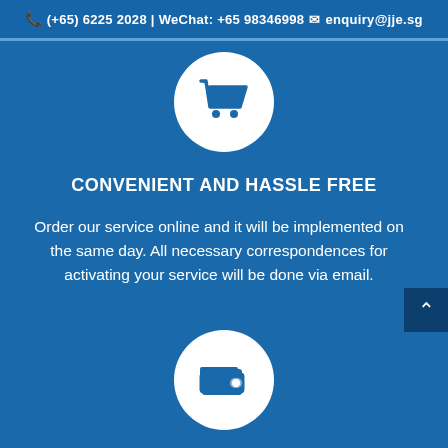(+65) 6225 2028 | WeChat: +65 98346998  enquiry@jje.sg
[Figure (illustration): White circle with blue shopping cart icon on blue background]
CONVENIENT AND HASSLE FREE
Order our service online and it will be implemented on the same day. All necessary correspondences for activating your service will be done via email.
[Figure (illustration): White circle with blue wallet/purse icon on blue background]